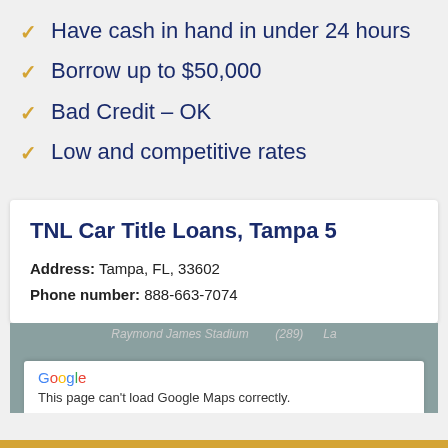Have cash in hand in under 24 hours
Borrow up to $50,000
Bad Credit – OK
Low and competitive rates
TNL Car Title Loans, Tampa 5
Address: Tampa, FL, 33602
Phone number: 888-663-7074
[Figure (screenshot): Google Maps error screenshot showing 'Raymond James Stadium' label on map background with a white popup box containing Google logo and error message: This page can't load Google Maps correctly.]